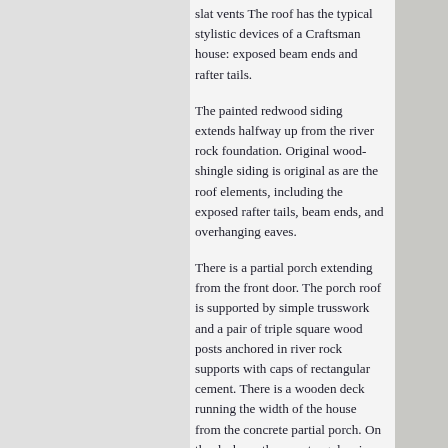slat vents The roof has the typical stylistic devices of a Craftsman house: exposed beam ends and rafter tails.
The painted redwood siding extends halfway up from the river rock foundation. Original wood-shingle siding is original as are the roof elements, including the exposed rafter tails, beam ends, and overhanging eaves.
There is a partial porch extending from the front door. The porch roof is supported by simple trusswork and a pair of triple square wood posts anchored in river rock supports with caps of rectangular cement.  There is a wooden deck running the width of the house from the concrete partial porch. On the deck are three rectangular river rock pedestals, capped with square concrete tops. The pedestals don't